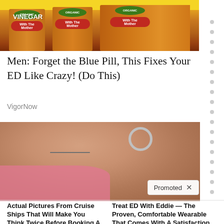[Figure (photo): Photo of Bragg Apple Cider Vinegar bottles with yellow caps and red labels, organic certified]
Men: Forget the Blue Pill, This Fixes Your ED Like Crazy! (Do This)
VigorNow
[Figure (photo): Photo of a woman wearing a pink top and silver hoop earring, with a necklace visible. Promoted badge with X in bottom right.]
[Figure (photo): Photo from inside a cruise ship buffet or dining area with people visible]
Actual Pictures From Cruise Ships That Will Make You Think Twice Before Booking A Trip
🔥 3,727
[Figure (photo): Photo of light blue Eddie wearable bands/bracelets stacked]
Treat ED With Eddie — The Proven, Comfortable Wearable That Comes With A Satisfaction Guarantee
🔥 161,191